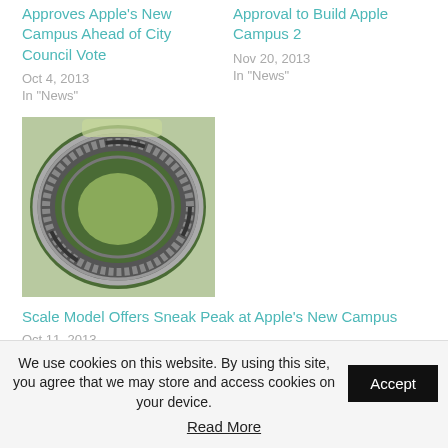Approves Apple's New Campus Ahead of City Council Vote
Oct 4, 2013
In "News"
Approval to Build Apple Campus 2
Nov 20, 2013
In "News"
[Figure (photo): Aerial view of the circular Apple Campus 2 building surrounded by trees]
Scale Model Offers Sneak Peak at Apple's New Campus
Oct 11, 2013
In "Design"
We use cookies on this website. By using this site, you agree that we may store and access cookies on your device.
Accept
Read More